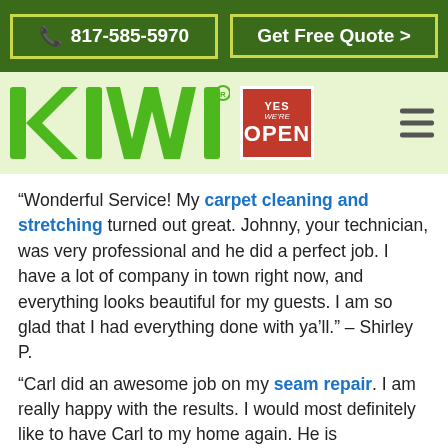817-585-5970 | Get Free Quote >
[Figure (logo): KIWI logo with YES We're OPEN badge and hamburger menu on light green background]
“Wonderful Service! My carpet cleaning and stretching turned out great. Johnny, your technician, was very professional and he did a perfect job. I have a lot of company in town right now, and everything looks beautiful for my guests. I am so glad that I had everything done with ya’ll.” – Shirley P.
“Carl did an awesome job on my seam repair. I am really happy with the results. I would most definitely like to have Carl to my home again. He is